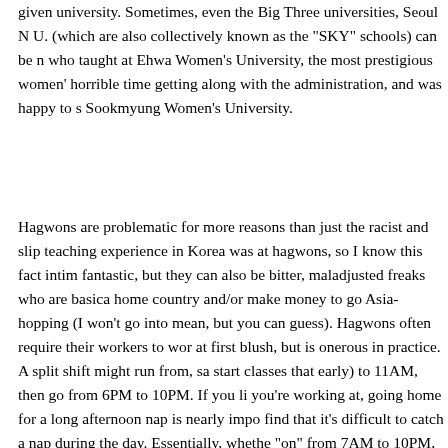given university. Sometimes, even the Big Three universities, Seoul N U. (which are also collectively known as the "SKY" schools) can be n who taught at Ehwa Women's University, the most prestigious women' horrible time getting along with the administration, and was happy to s Sookmyung Women's University.
Hagwons are problematic for more reasons than just the racist and slip teaching experience in Korea was at hagwons, so I know this fact intim fantastic, but they can also be bitter, maladjusted freaks who are basica home country and/or make money to go Asia-hopping (I won't go into mean, but you can guess). Hagwons often require their workers to wor at first blush, but is onerous in practice. A split shift might run from, sa start classes that early) to 11AM, then go from 6PM to 10PM. If you li you're working at, going home for a long afternoon nap is nearly impo find that it's difficult to catch a nap during the day. Essentially, whethe "on" from 7AM to 10PM, which very quickly becomes oppressive. So employees to work more than 40 hours per week. At my final hagwon, hours, which included full-day Saturdays every other week.